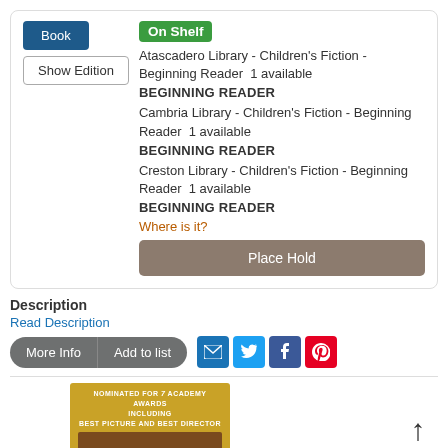Book
Show Edition
On Shelf
Atascadero Library - Children's Fiction - Beginning Reader  1 available
BEGINNING READER
Cambria Library - Children's Fiction - Beginning Reader  1 available
BEGINNING READER
Creston Library - Children's Fiction - Beginning Reader  1 available
BEGINNING READER
Where is it?
Place Hold
Description
Read Description
More Info
Add to list
[Figure (screenshot): Social sharing icons: email, Twitter, Facebook, Pinterest]
[Figure (photo): Book cover for Babe - gold cover with text: NOMINATED FOR 7 ACADEMY AWARDS INCLUDING BEST PICTURE AND BEST DIRECTOR, with Babe title in blue italic text]